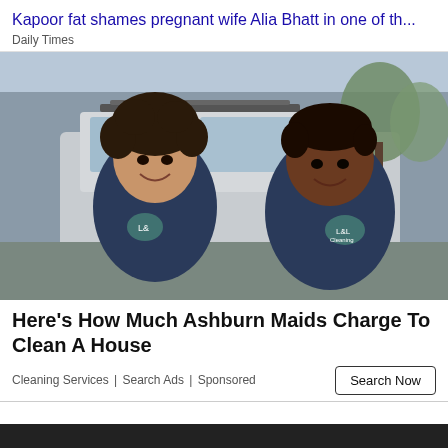Kapoor fat shames pregnant wife Alia Bhatt in one of th...
Daily Times
[Figure (photo): Two women in navy blue uniforms with logo, smiling in front of a vehicle outdoors]
Here's How Much Ashburn Maids Charge To Clean A House
Cleaning Services | Search Ads | Sponsored